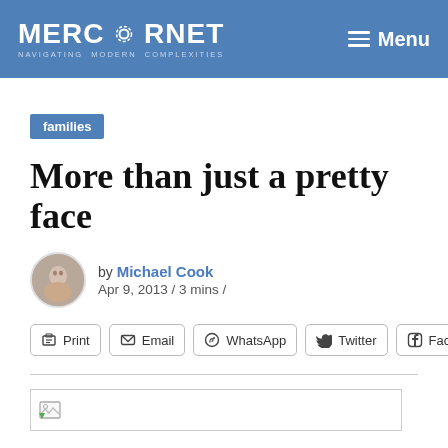MERCATORNET — NAVIGATING MODERN COMPLEXITIES | Menu
families
More than just a pretty face
by Michael Cook
Apr 9, 2013 / 3 mins /
Print | Email | WhatsApp | Twitter | Facebook
[Figure (other): Broken image placeholder at bottom of article]